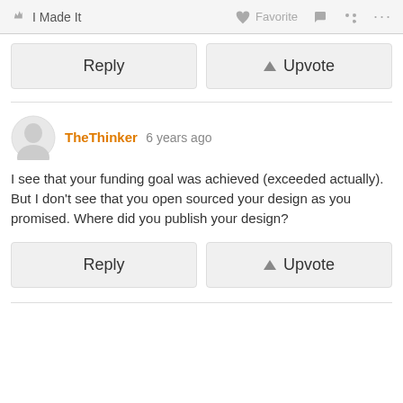I Made It  Favorite  ...
[Figure (other): Reply and Upvote buttons row at top]
[Figure (other): User avatar circle with person silhouette for TheThinker]
TheThinker 6 years ago
I see that your funding goal was achieved (exceeded actually). But I don't see that you open sourced your design as you promised. Where did you publish your design?
[Figure (other): Reply and Upvote buttons row at bottom]